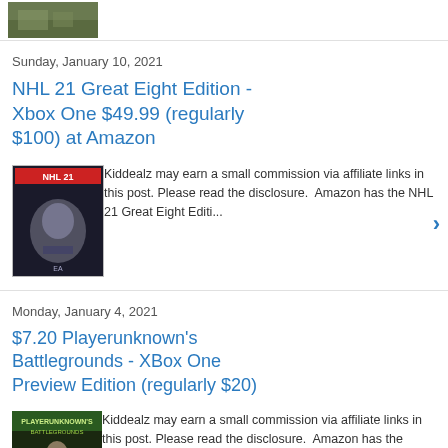[Figure (photo): Partial thumbnail image of a game scene, green/brown outdoor environment]
Sunday, January 10, 2021
NHL 21 Great Eight Edition - Xbox One $49.99 (regularly $100) at Amazon
[Figure (photo): NHL 21 game cover showing hockey player, with article preview text: Kiddealz may earn a small commission via affiliate links in this post. Please read the disclosure. Amazon has the NHL 21 Great Eight Editi...]
Monday, January 4, 2021
$7.20 Playerunknown's Battlegrounds - XBox One Preview Edition (regularly $20)
[Figure (photo): Playerunknown's Battlegrounds game cover with article preview text: Kiddealz may earn a small commission via affiliate links in this post. Please read the disclosure. Amazon has the Playerunknown's Battl...]